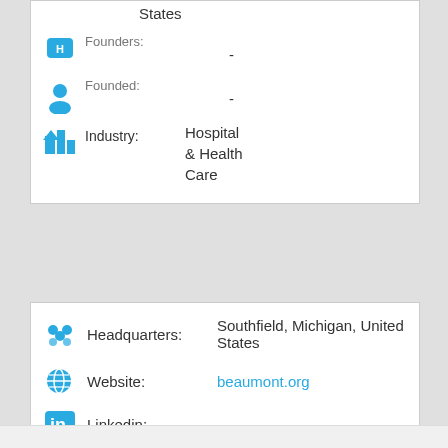States
Founders: -
Founded: -
Industry: Hospital & Health Care
Headquarters: Southfield, Michigan, United States
Website: beaumont.org
Linkedin: linkedin.com/company/beaumont-health